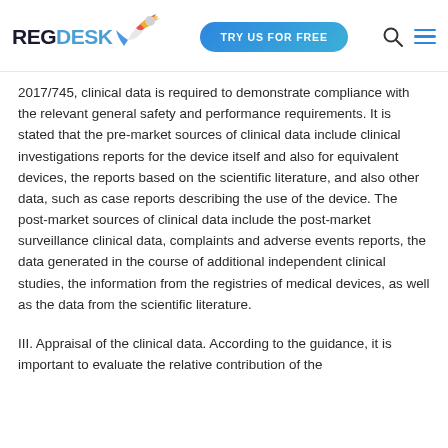REGDESK | TRY US FOR FREE
2017/745, clinical data is required to demonstrate compliance with the relevant general safety and performance requirements. It is stated that the pre-market sources of clinical data include clinical investigations reports for the device itself and also for equivalent devices, the reports based on the scientific literature, and also other data, such as case reports describing the use of the device. The post-market sources of clinical data include the post-market surveillance clinical data, complaints and adverse events reports, the data generated in the course of additional independent clinical studies, the information from the registries of medical devices, as well as the data from the scientific literature.
III. Appraisal of the clinical data. According to the guidance, it is important to evaluate the relative contribution of the